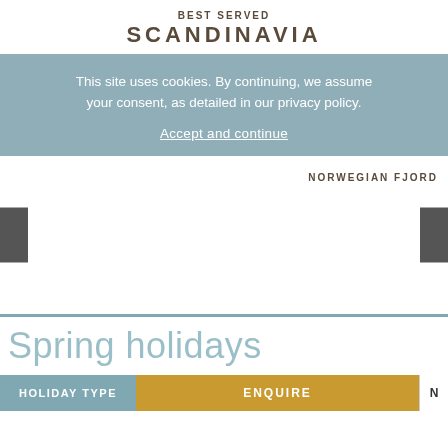BEST SERVED SCANDINAVIA
This site uses cookies. By continuing, we assume your consent, as detailed in our privacy policy. Accept and continue
NORWEGIAN FJORD
Spring holidays
HOLIDAY TYPE   ENQUIRE   N